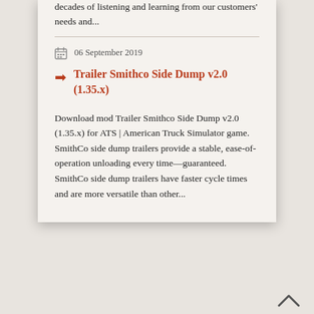decades of listening and learning from our customers' needs and...
06 September 2019
Trailer Smithco Side Dump v2.0 (1.35.x)
Download mod Trailer Smithco Side Dump v2.0 (1.35.x) for ATS | American Truck Simulator game. SmithCo side dump trailers provide a stable, ease-of-operation unloading every time—guaranteed. SmithCo side dump trailers have faster cycle times and are more versatile than other...